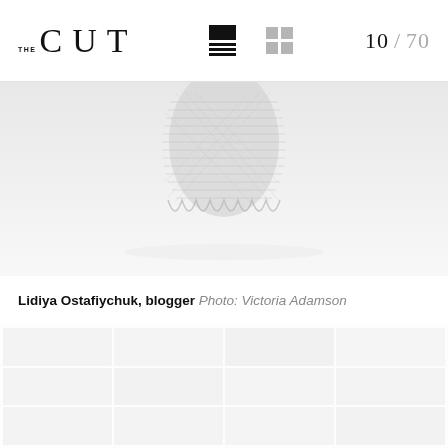THE CUT  10 / 70
[Figure (photo): Fashion photo showing a person wearing a metallic chain-mail or net-like garment, photographed against a light background. Only the lower portion of the figure is visible, showing the draped fabric detail.]
Lidiya Ostafiychuk, blogger  Photo: Victoria Adamson
[Figure (photo): Faded/watermarked grid of thumbnail fashion photos in the lower portion of the page, very low opacity.]